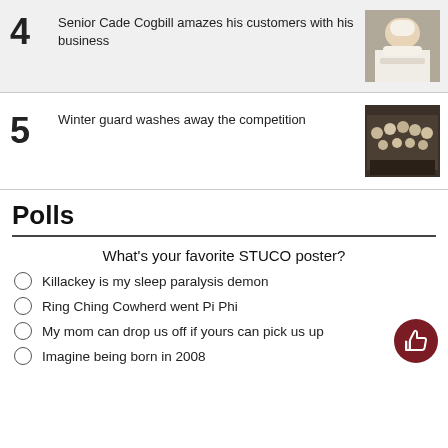4 Senior Cade Cogbill amazes his customers with his business
[Figure (photo): Photo of a person in chef/white uniform with arms crossed]
5 Winter guard washes away the competition
[Figure (photo): Group photo of winter guard performers]
Polls
What's your favorite STUCO poster?
Killackey is my sleep paralysis demon
Ring Ching Cowherd went Pi Phi
My mom can drop us off if yours can pick us up
Imagine being born in 2008